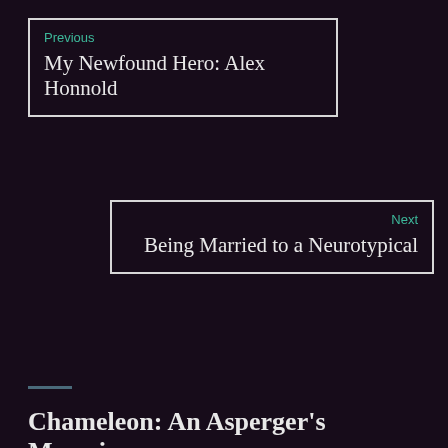Previous
My Newfound Hero: Alex Honnold
Next
Being Married to a Neurotypical
Chameleon: An Asperger's Memoir
[Figure (logo): WordPress Follow button: Follow Return to Innocence]
Follow Blog via Email
Enter your email address to follow this blog and receive